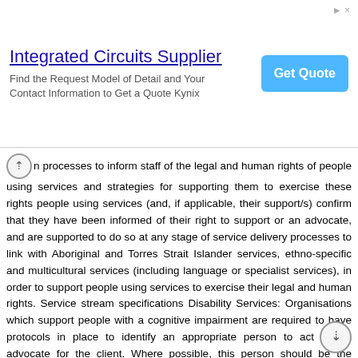[Figure (other): Advertisement banner for 'Integrated Circuits Supplier' with a 'Get Quote' button and small arrow/x icons in top right.]
n processes to inform staff of the legal and human rights of people using services and strategies for supporting them to exercise these rights people using services (and, if applicable, their support/s) confirm that they have been informed of their right to support or an advocate, and are supported to do so at any stage of service delivery processes to link with Aboriginal and Torres Strait Islander services, ethno-specific and multicultural services (including language or specialist services), in order to support people using services to exercise their legal and human rights. Service stream specifications Disability Services: Organisations which support people with a cognitive impairment are required to have protocols in place to identify an appropriate person to act as an advocate for the client. Where possible, this person should be the client's choice and the client's consent to share information with this person should be obtained. December 2012 Version 2 Page 24